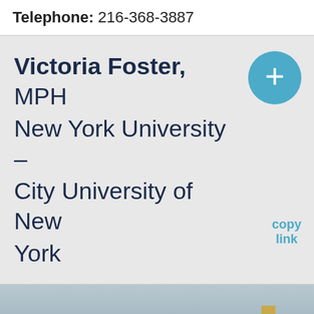Telephone: 216-368-3887
Victoria Foster, MPH
New York University – City University of New York
[Figure (photo): Portrait photo of Victoria Foster, a woman with brown hair, outdoor urban background with blurred green signage and yellow traffic light visible.]